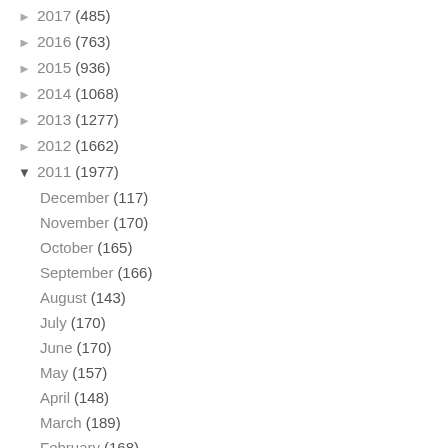► 2017 (485)
► 2016 (763)
► 2015 (936)
► 2014 (1068)
► 2013 (1277)
► 2012 (1662)
▼ 2011 (1977)
December (117)
November (170)
October (165)
September (166)
August (143)
July (170)
June (170)
May (157)
April (148)
March (189)
February (168)
January (214)
► 2010 (2538)